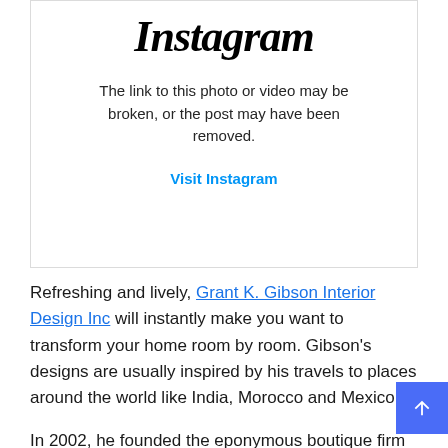[Figure (screenshot): Instagram broken link placeholder box showing the Instagram logo in cursive, a message that the photo or video link may be broken or the post removed, and a 'Visit Instagram' link in blue.]
Refreshing and lively, Grant K. Gibson Interior Design Inc will instantly make you want to transform your home room by room. Gibson's designs are usually inspired by his travels to places around the world like India, Morocco and Mexico.
In 2002, he founded the eponymous boutique firm in New